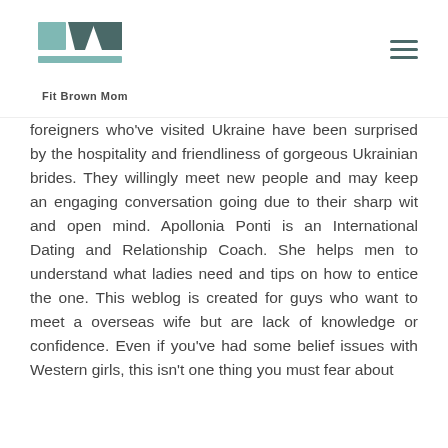Fit Brown Mom
foreigners who've visited Ukraine have been surprised by the hospitality and friendliness of gorgeous Ukrainian brides. They willingly meet new people and may keep an engaging conversation going due to their sharp wit and open mind. Apollonia Ponti is an International Dating and Relationship Coach. She helps men to understand what ladies need and tips on how to entice the one. This weblog is created for guys who want to meet a overseas wife but are lack of knowledge or confidence. Even if you've had some belief issues with Western girls, this isn't one thing you must fear about